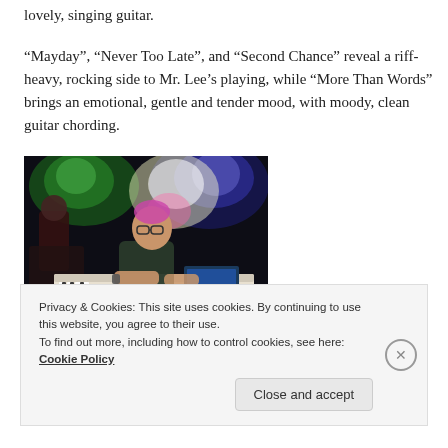lovely, singing guitar.
“Mayday”, “Never Too Late”, and “Second Chance” reveal a riff-heavy, rocking side to Mr. Lee’s playing, while “More Than Words” brings an emotional, gentle and tender mood, with moody, clean guitar chording.
[Figure (photo): A musician performing on stage at a concert, playing a keyboard/synthesizer under colorful stage lighting. Another musician is visible in the background.]
Privacy & Cookies: This site uses cookies. By continuing to use this website, you agree to their use.
To find out more, including how to control cookies, see here: Cookie Policy
Close and accept